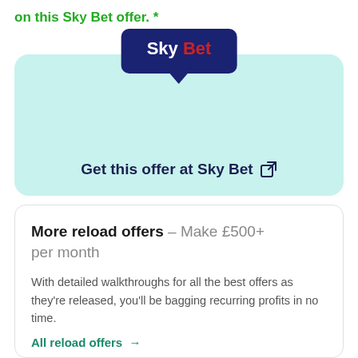on this Sky Bet offer. *
[Figure (illustration): Sky Bet logo badge (dark blue rounded rectangle with 'Sky' in white bold and 'Bet' in red bold, with a downward pointing tail) above a light teal/mint rounded card containing bold text 'Get this offer at Sky Bet' followed by an external link icon]
More reload offers – Make £500+ per month
With detailed walkthroughs for all the best offers as they're released, you'll be bagging recurring profits in no time.
All reload offers →